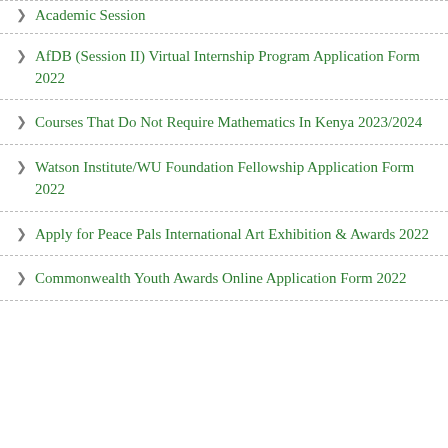Academic Session
AfDB (Session II) Virtual Internship Program Application Form 2022
Courses That Do Not Require Mathematics In Kenya 2023/2024
Watson Institute/WU Foundation Fellowship Application Form 2022
Apply for Peace Pals International Art Exhibition & Awards 2022
Commonwealth Youth Awards Online Application Form 2022